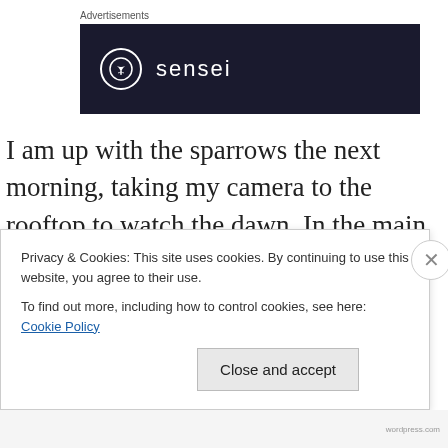Advertisements
[Figure (logo): Sensei brand advertisement: dark navy background with a white circle logo containing a tree icon, followed by the text 'sensei' in white letters]
I am up with the sparrows the next morning, taking my camera to the rooftop to watch the dawn. In the main village temple I can see flickering lamps, and the sound of the bells and drums signifying morning prayer wafts up the hill. I can see little lights across the plains below until.
Privacy & Cookies: This site uses cookies. By continuing to use this website, you agree to their use.
To find out more, including how to control cookies, see here: Cookie Policy
Close and accept